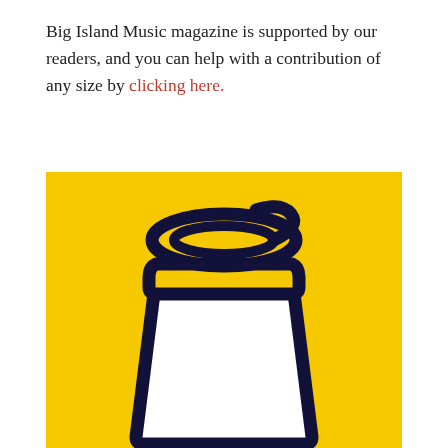Big Island Music magazine is supported by our readers, and you can help with a contribution of any size by clicking here.
[Figure (illustration): Yellow background square containing a 'Buy Me a Coffee' style illustration: a takeaway coffee cup with a lid, drawn in bold dark navy/black outlines on a bright yellow background. The cup is mostly white/empty inside with a wavy fill line near the top of the cup body. The lid has a swirled loop handle on top.]